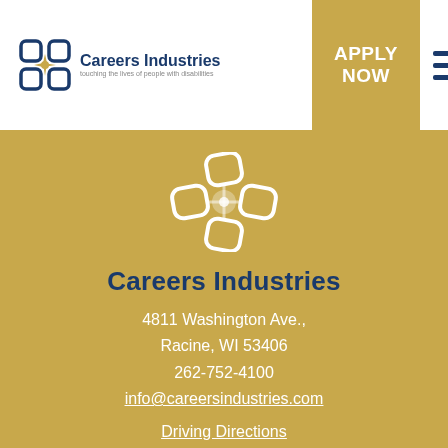[Figure (logo): Careers Industries logo with icon and text, tagline: touching the lives of people with disabilities]
APPLY NOW
[Figure (logo): Careers Industries white symbol logo centered on gold background]
Careers Industries
4811 Washington Ave.,
Racine, WI 53406
262-752-4100
info@careersindustries.com
Driving Directions
161 Industrial Dr.,
Burlington, WI 53105